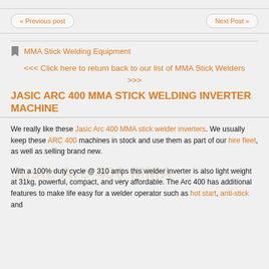« Previous post    Next Post »
MMA Stick Welding Equipment
<<< Click here to return back to our list of MMA Stick Welders >>>
JASIC ARC 400 MMA STICK WELDING INVERTER MACHINE
We really like these Jasic Arc 400 MMA stick welder inverters. We usually keep these ARC 400 machines in stock and use them as part of our hire fleet, as well as selling brand new.
With a 100% duty cycle @ 310 amps this welder inverter is also light weight at 31kg, powerful, compact, and very affordable. The Arc 400 has additional features to make life easy for a welder operator such as hot start, anti-stick and